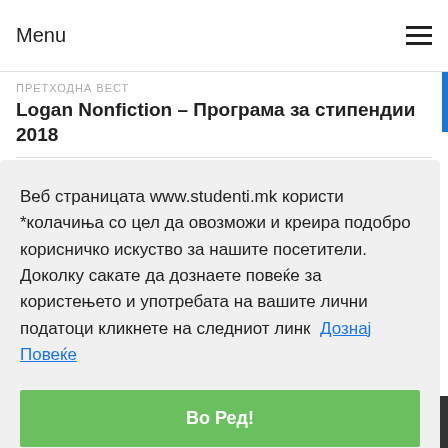Menu
ПРЕТХОДНА ВЕСТ
Logan Nonfiction – Програма за стипендии 2018
СЛЕДНА ВЕСТ
Веб страницата www.studenti.mk користи *колачиња со цел да овозможи и креира подобро корисничко искуство за нашите посетители. Доколку сакате да дознаете повеќе за користењето и употребата на вашите лични податоци кликнете на следниот линк  Дознај Повеќе
Во Ред!